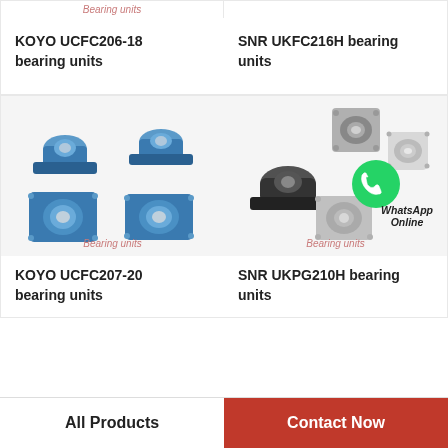Bearing units
KOYO UCFC206-18 bearing units
SNR UKFC216H bearing units
[Figure (photo): Four blue pillow block / flange bearing units (KOYO UCFC207-20) arranged on white background with 'Bearing units' watermark]
[Figure (photo): Several dark grey/metallic bearing housing units including flange and pillow block types with a WhatsApp Online overlay logo, and 'Bearing units' watermark]
KOYO UCFC207-20 bearing units
SNR UKPG210H bearing units
All Products
Contact Now